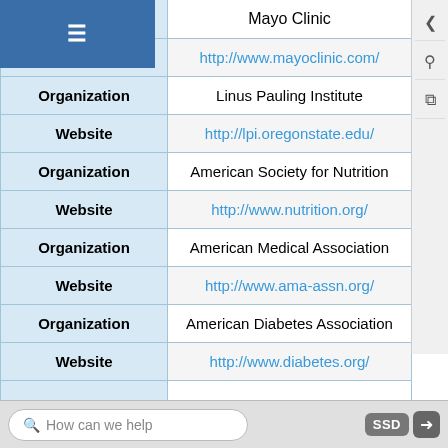| Field | Value |
| --- | --- |
| Organization | Mayo Clinic |
| Website | http://www.mayoclinic.com/ |
| Organization | Linus Pauling Institute |
| Website | http://lpi.oregonstate.edu/ |
| Organization | American Society for Nutrition |
| Website | http://www.nutrition.org/ |
| Organization | American Medical Association |
| Website | http://www.ama-assn.org/ |
| Organization | American Diabetes Association |
| Website | http://www.diabetes.org/ |
| Organization | The Academy of Nutrition and... |